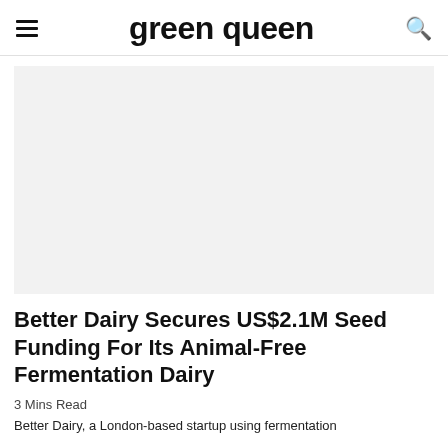green queen
[Figure (photo): Hero image placeholder — light gray rectangle]
Better Dairy Secures US$2.1M Seed Funding For Its Animal-Free Fermentation Dairy
3 Mins Read
Better Dairy, a London-based startup using fermentation